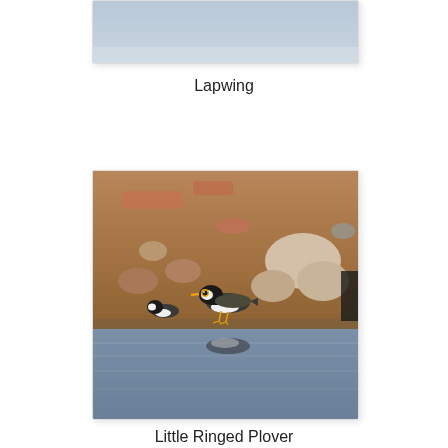[Figure (photo): Partially visible bird photo (Lapwing) cropped at the top of the page, showing a grey/blue sky background]
Lapwing
[Figure (photo): A Little Ringed Plover bird standing among rocks and muddy ground near water, with its reflection visible in the water below]
Little Ringed Plover